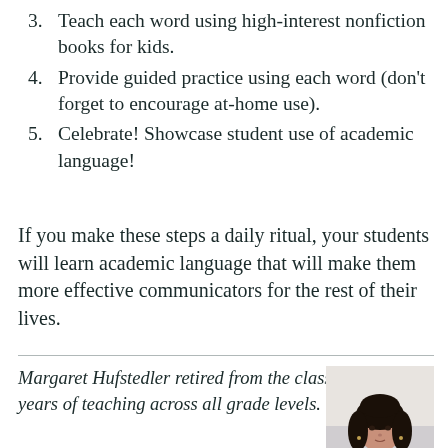3. Teach each word using high-interest nonfiction books for kids.
4. Provide guided practice using each word (don't forget to encourage at-home use).
5. Celebrate! Showcase student use of academic language!
If you make these steps a daily ritual, your students will learn academic language that will make them more effective communicators for the rest of their lives.
Margaret Hufstedler retired from the classroom after 32 years of teaching across all grade levels.
[Figure (photo): Portrait photo of Margaret Hufstedler, a woman with dark hair, shown from shoulders up against a light background.]